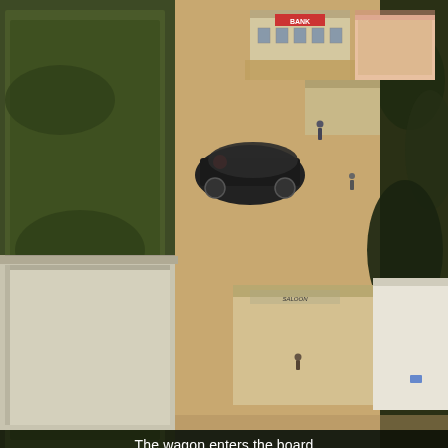[Figure (photo): Aerial view of a miniature tabletop game board showing a Wild West town scene. Buildings include a bank and other storefronts. A wagon with a red marker enters from the left. Miniature figures are positioned around the board. Green terrain borders the sandy-colored town area. Dense foliage (possibly representing Angel miniatures) is visible on the right side.]
The wagon enters the board
Turn 7
The wagon arrives as do the second shift of Angels. Now the Angel's habit of 'quantum locking' each other if they are in line of site of another Angel had already meant the game had been very tricky for the eldest nephew, never mind that they died easy, the set of 8 Angels in close proximity proved problematic. My original, not thought through idea was that they appeared around the beacon looking out. In the end we settled for deploying around the square away from the Posse but near the beacon and wagon.